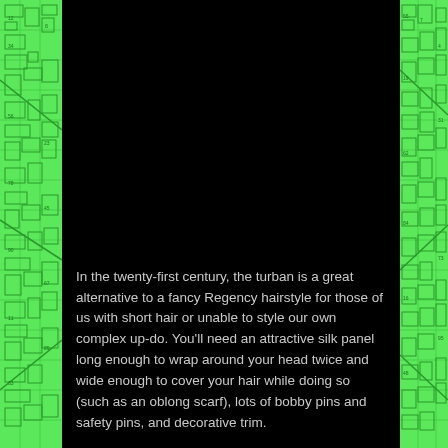[Figure (illustration): Dark/black background image filling top portion of the page with decorative green map/circuit board pattern borders on left and right sides]
In the twenty-first century, the turban is a great alternative to a fancy Regency hairstyle for those of us with short hair or unable to style our own complex up-do. You'll need an attractive silk panel long enough to wrap around your head twice and wide enough to cover your hair while doing so (such as an oblong scarf), lots of bobby pins and safety pins, and decorative trim.